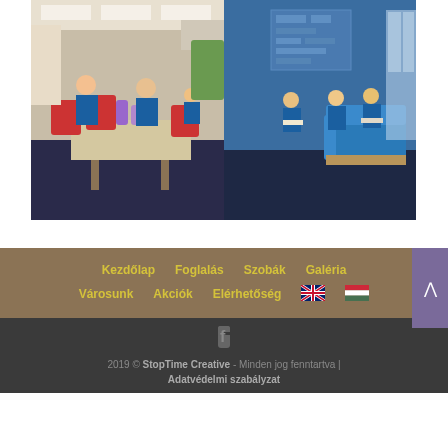[Figure (photo): Composite photograph of a school interior: left side shows students in blue uniforms working at a table with craft materials, red chairs visible; right side shows a blue reading/lounge area with students reading and sitting on blue sofas near large windows.]
Kezdőlap
Foglalás
Szobák
Galéria
Városunk
Akciók
Elérhetőség
2019 © StopTime Creative - Minden jog fenntartva | Adatvédelmi szabályzat